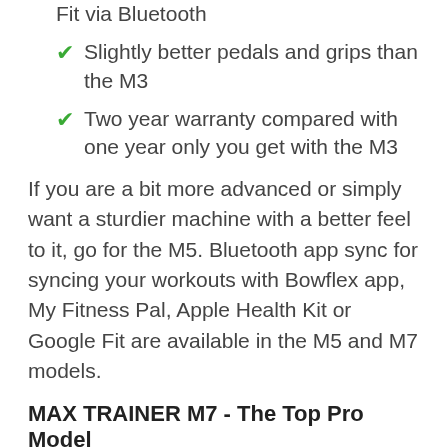Slightly better pedals and grips than the M3
Two year warranty compared with one year only you get with the M3
If you are a bit more advanced or simply want a sturdier machine with a better feel to it, go for the M5. Bluetooth app sync for syncing your workouts with Bowflex app, My Fitness Pal, Apple Health Kit or Google Fit are available in the M5 and M7 models.
MAX TRAINER M7 - The Top Pro Model
More user profiles - Can save up to four users instead of two you get with the M5 and M3.